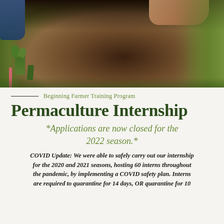[Figure (photo): Photograph of people working with mulch/soil in a garden bed, with grass visible on the sides and hands visible at top, blue jeans on left, and a pink stake marker at bottom left.]
Beginning Farmer Training Program
Permaculture Internship
*Applications are now closed for the 2022 season.*
COVID Update: We were able to safely carry out our internship for the 2020 and 2021 seasons, hosting 60 interns throughout the pandemic, by implementing a COVID safety plan. Interns are required to quarantine for 14 days, OR quarantine for 10